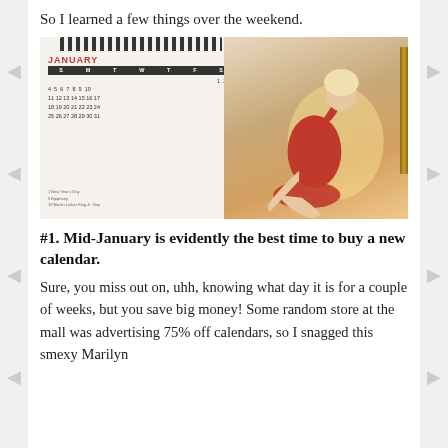So I learned a few things over the weekend.
[Figure (photo): A wall calendar for January featuring a photo of Marilyn Monroe in a red bodysuit posing on the calendar page, hung on a wall next to a framed picture.]
#1. Mid-January is evidently the best time to buy a new calendar.
Sure, you miss out on, uhh, knowing what day it is for a couple of weeks, but you save big money! Some random store at the mall was advertising 75% off calendars, so I snagged this smexy Marilyn